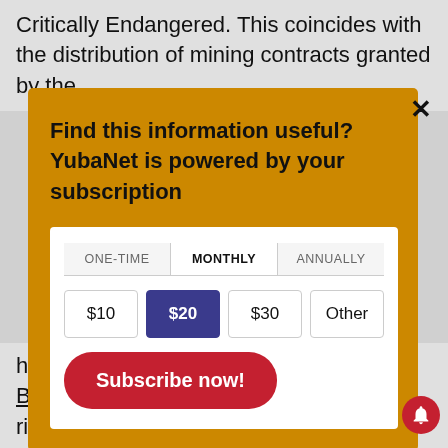Critically Endangered. This coincides with the distribution of mining contracts granted by the
Find this information useful? YubaNet is powered by your subscription
| ONE-TIME | MONTHLY | ANNUALLY |
| --- | --- | --- |
| $10 | $20 | $30 | Other |
Subscribe now!
has been published in Conservation Biology entitled 'Assessing the extinction risk of